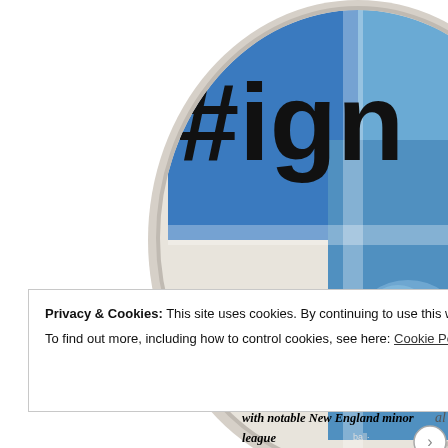[Figure (illustration): Partially visible circular badge/button with '#ign' text visible in bold black on a blue background, with collage of baseball-related images]
To celebrate the start of the 2014 Major with notable New England minor league work at http://www.pawsoxheavy.com.
Privacy & Cookies: This site uses cookies. By continuing to use this website, you agree to their use. To find out more, including how to control cookies, see here: Cookie Policy